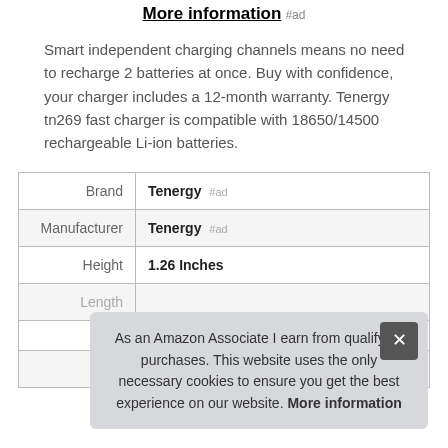More information #ad
Smart independent charging channels means no need to recharge 2 batteries at once. Buy with confidence, your charger includes a 12-month warranty. Tenergy tn269 fast charger is compatible with 18650/14500 rechargeable Li-ion batteries.
|  |  |
| --- | --- |
| Brand | Tenergy #ad |
| Manufacturer | Tenergy #ad |
| Height | 1.26 Inches |
|  |  |
As an Amazon Associate I earn from qualifying purchases. This website uses the only necessary cookies to ensure you get the best experience on our website. More information